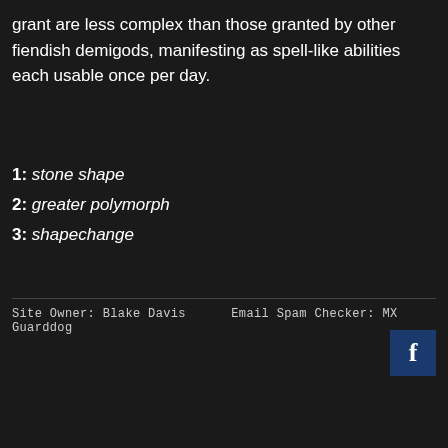grant are less complex than those granted by other fiendish demigods, manifesting as spell-like abilities each usable once per day.
1: stone shape
2: greater polymorph
3: shapechange
Site Owner: Blake Davis     Email Spam Checker: MX Guarddog